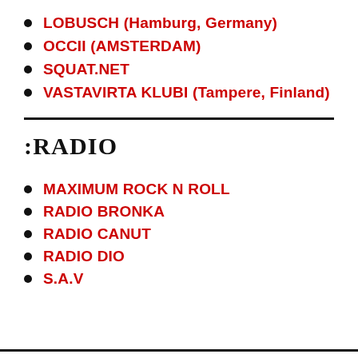LOBUSCH (Hamburg, Germany)
OCCII (AMSTERDAM)
SQUAT.NET
VASTAVIRTA KLUBI (Tampere, Finland)
:RADIO
MAXIMUM ROCK N ROLL
RADIO BRONKA
RADIO CANUT
RADIO DIO
S.A.V